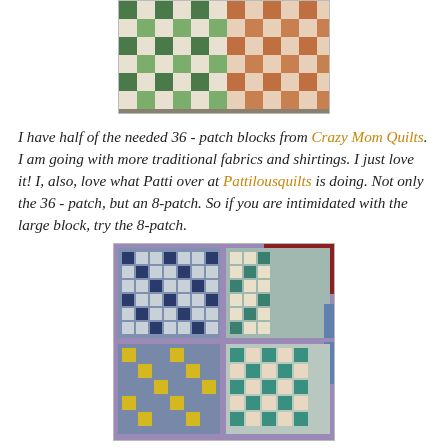[Figure (photo): Photo of quilt blocks with green and white checkerboard pattern on left and orange/cream checkerboard pattern on right, arranged in rows on a surface.]
I have half of the needed 36 - patch blocks from Crazy Mom Quilts. I am going with more traditional fabrics and shirtings. I just love it! I, also, love what Patti over at Pattilousquilts is doing. Not only the 36 - patch, but an 8-patch. So if you are intimidated with the large block, try the 8-patch.
[Figure (photo): Photo of quilt blocks with blue/white 9-patch diagonal pattern (upper left), teal/cream diagonal 9-patch (upper right), yellow/blue 9-patch diagonal (lower left), and teal/peach 9-patch (lower right) laid on a purple surface with red fabric in corner.]